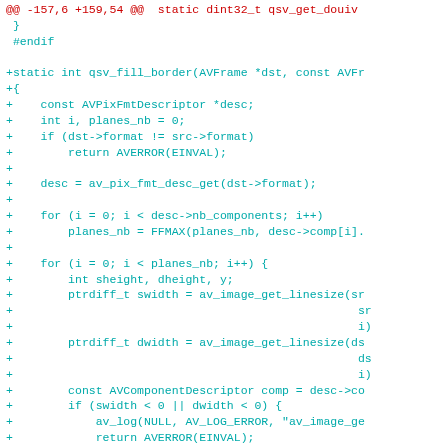[Figure (screenshot): Code diff screenshot showing a C source file patch. The header line is in red/dark red, code lines added (prefixed with +) are in cyan/teal color on white background. The code defines a static function qsv_fill_border with AVFrame parameters, variable declarations, format checks, loops over planes and components, and various av_image_get_linesize calls.]